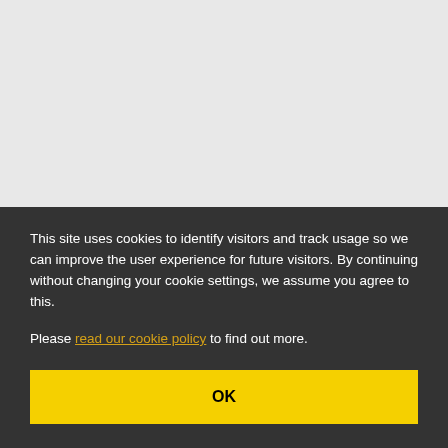This site uses cookies to identify visitors and track usage so we can improve the user experience for future visitors. By continuing without changing your cookie settings, we assume you agree to this.
Please read our cookie policy to find out more.
OK